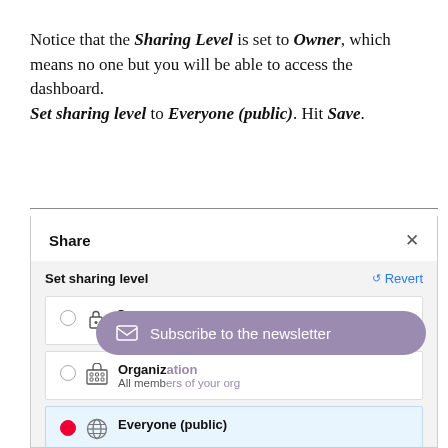Notice that the Sharing Level is set to Owner, which means no one but you will be able to access the dashboard.
Set sharing level to Everyone (public). Hit Save.
[Figure (screenshot): A 'Share' dialog box showing sharing level options: Owner, Organization, and Everyone (public) with a 'Subscribe to the newsletter' overlay tooltip in purple.]